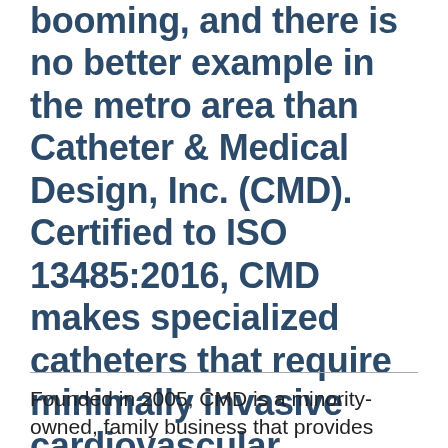booming, and there is no better example in the metro area than Catheter & Medical Design, Inc. (CMD). Certified to ISO 13485:2016, CMD makes specialized catheters that require minimally invasive cardiovascular, neurological and laparoscopic procedures.
Founded in 2005, CMD is a minority-owned, family business that provides medical catheter tubing products to the global